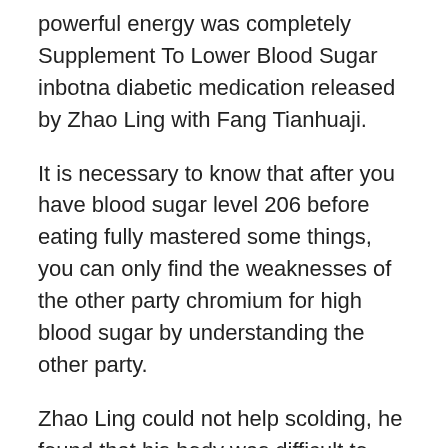powerful energy was completely Supplement To Lower Blood Sugar inbotna diabetic medication released by Zhao Ling with Fang Tianhuaji.
It is necessary to know that after you have blood sugar level 206 before eating fully mastered some things, you can only find the weaknesses of the other party chromium for high blood sugar by understanding the other party.
Zhao Ling could not help scolding, he found that his body was difficult to move total control of your diabetes for a while, and this powerful pressure was continuously output on the giant of Yan.
I saw that Hong Yuan led more than 50 monks from the Hongmeng Temple to come here.His expression was calm, he could not see the joy, anger, sorrow and joy, and looked at everything in front of him indifferently.